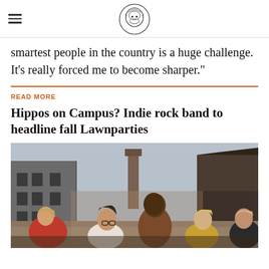[newspaper logo with hamburger menu]
smartest people in the country is a huge challenge. It’s really forced me to become sharper.”
READ MORE
Hippos on Campus? Indie rock band to headline fall Lawnparties
[Figure (photo): A group of five young people sitting and standing outdoors in an industrial or rural setting with old stone and brick buildings in the background, moody overcast sky.]